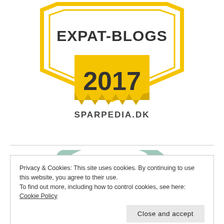[Figure (logo): Expat-Blogs 2017 award badge for sparpedia.dk — a golden shield/banner shape with 'EXPAT-BLOGS' text at top, '2017' in large numerals on a yellow ribbon/pennant shape with jagged bottom, and 'SPARPEDIA.DK' text below]
[Figure (other): Partial view of a circular badge or logo with teal/mint colored segments at the top arc, and blue illustrated figures at the bottom, partially obscured by the cookie consent overlay]
Privacy & Cookies: This site uses cookies. By continuing to use this website, you agree to their use.
To find out more, including how to control cookies, see here: Cookie Policy
Close and accept